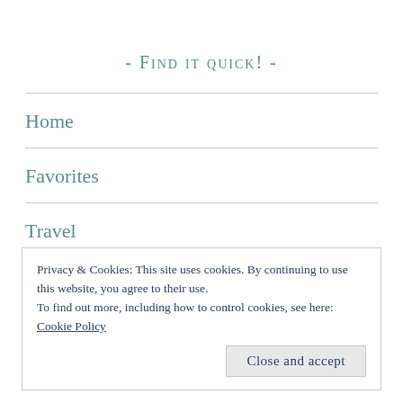- Find it quick! -
Home
Favorites
Travel
Privacy & Cookies: This site uses cookies. By continuing to use this website, you agree to their use.
To find out more, including how to control cookies, see here: Cookie Policy
Close and accept